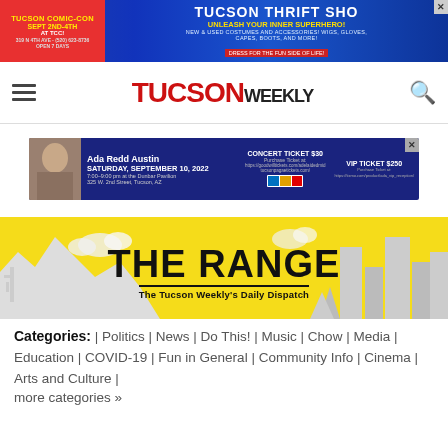[Figure (other): Tucson Comic-Con and Tucson Thrift Shop advertisement banner at top of page]
TUCSON WEEKLY
[Figure (other): Ada Redd Austin concert event advertisement - Saturday, September 10, 2022]
[Figure (other): The Range - The Tucson Weekly's Daily Dispatch banner with yellow background and desert/city skyline silhouette]
Categories: | Politics | News | Do This! | Music | Chow | Media | Education | COVID-19 | Fun in General | Community Info | Cinema | Arts and Culture | more categories »